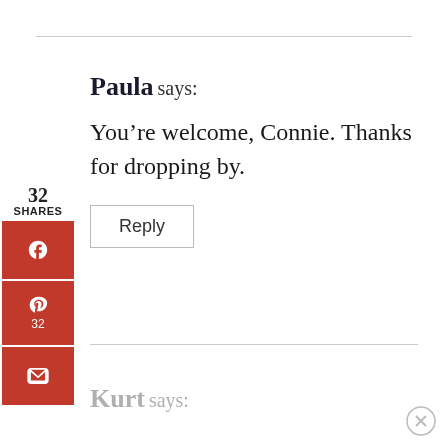Paula says:
32 SHARES
You’re welcome, Connie. Thanks for dropping by.
Reply
Kurt says: